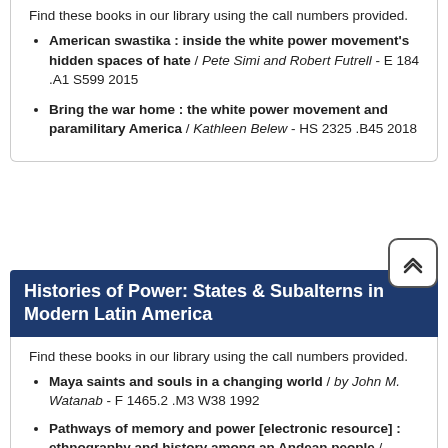Find these books in our library using the call numbers provided.
American swastika : inside the white power movement's hidden spaces of hate / Pete Simi and Robert Futrell - E 184 .A1 S599 2015
Bring the war home : the white power movement and paramilitary America / Kathleen Belew - HS 2325 .B45 2018
Histories of Power: States & Subalterns in Modern Latin America
Find these books in our library using the call numbers provided.
Maya saints and souls in a changing world / by John M. Watanab - F 1465.2 .M3 W38 1992
Pathways of memory and power [electronic resource] : ethnography and history among an Andean people / Thomas A. Abercrombie - F2230.2.A9A24 1998eb